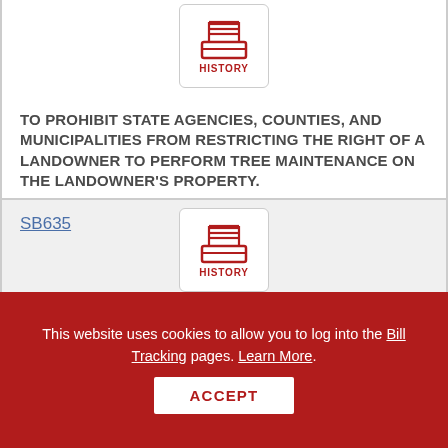[Figure (other): History inbox tray icon in red]
TO PROHIBIT STATE AGENCIES, COUNTIES, AND MUNICIPALITIES FROM RESTRICTING THE RIGHT OF A LANDOWNER TO PERFORM TREE MAINTENANCE ON THE LANDOWNER'S PROPERTY.
SB635
[Figure (other): History inbox tray icon in red]
TO AMEND THE LAW CONCERNING THE DATES FOR CERTAIN SPECIAL ELECTIONS; AND TO PROMOTE VOTER TURNOUT.
This website uses cookies to allow you to log into the Bill Tracking pages. Learn More.